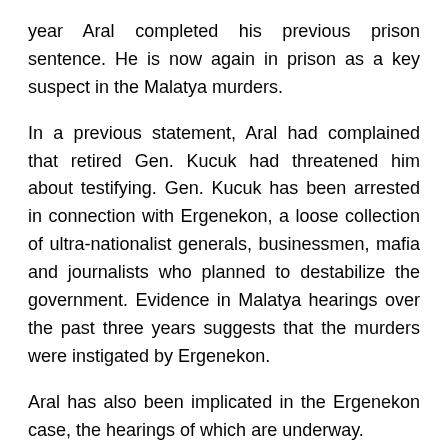year Aral completed his previous prison sentence. He is now again in prison as a key suspect in the Malatya murders.
In a previous statement, Aral had complained that retired Gen. Kucuk had threatened him about testifying. Gen. Kucuk has been arrested in connection with Ergenekon, a loose collection of ultra-nationalist generals, businessmen, mafia and journalists who planned to destabilize the government. Evidence in Malatya hearings over the past three years suggests that the murders were instigated by Ergenekon.
Aral has also been implicated in the Ergenekon case, the hearings of which are underway.
Prosecutors believe the Malatya murders are directly